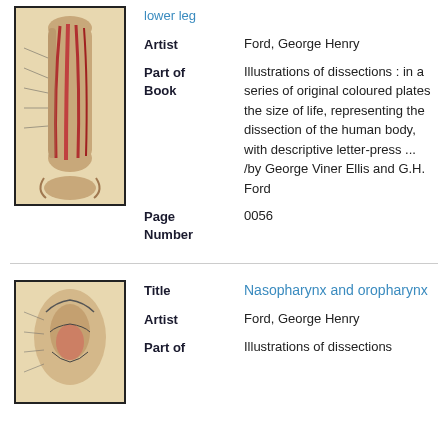[Figure (illustration): Anatomical illustration of dissected lower leg muscles, coloured plate on beige background with handwritten labels on left side]
lower leg
Artist
Ford, George Henry
Part of Book
Illustrations of dissections : in a series of original coloured plates the size of life, representing the dissection of the human body, with descriptive letter-press ... /by George Viner Ellis and G.H. Ford
Page Number
0056
[Figure (illustration): Anatomical illustration of nasopharynx and oropharynx, coloured plate on beige background]
Title
Nasopharynx and oropharynx
Artist
Ford, George Henry
Part of
Illustrations of dissections